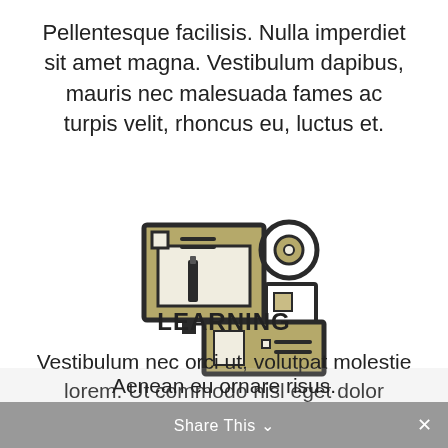Pellentesque facilisis. Nulla imperdiet sit amet magna. Vestibulum dapibus, mauris nec malesuada fames ac turpis velit, rhoncus eu, luctus et.
[Figure (illustration): Icon of a computer monitor/desktop setup with peripheral items: a circular element (clock or disc), a rectangular panel, and a drawer unit, rendered in olive/tan and black outline style.]
LEARNING
Vestibulum nec orci ut, volutpat molestie lorem. Ut commodo nisl eget dolor faucibus, at suscipit risus elementum. Aenean eu ornare risus.
Share This ✓  ✕